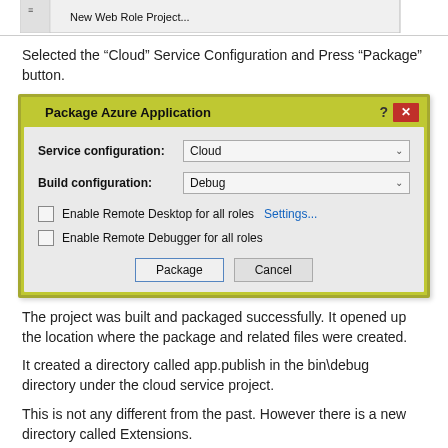[Figure (screenshot): Top portion of a Visual Studio menu showing 'New Web Role Project...' option]
Selected the “Cloud” Service Configuration and Press “Package” button.
[Figure (screenshot): Package Azure Application dialog with Service configuration set to Cloud, Build configuration set to Debug, checkboxes for Enable Remote Desktop for all roles (with Settings... link) and Enable Remote Debugger for all roles, and Package and Cancel buttons.]
The project was built and packaged successfully. It opened up the location where the package and related files were created.
It created a directory called app.publish in the bin\debug directory under the cloud service project.
This is not any different from the past. However there is a new directory called Extensions.